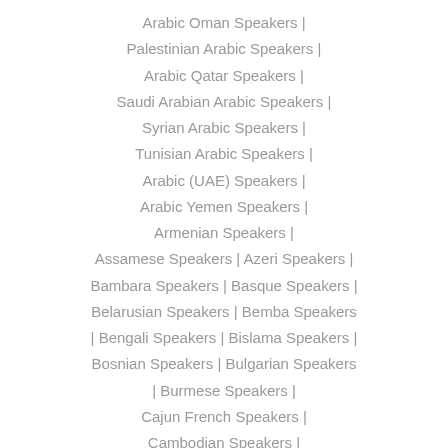Arabic Oman Speakers |
Palestinian Arabic Speakers |
Arabic Qatar Speakers |
Saudi Arabian Arabic Speakers |
Syrian Arabic Speakers |
Tunisian Arabic Speakers |
Arabic (UAE) Speakers |
Arabic Yemen Speakers |
Armenian Speakers |
Assamese Speakers | Azeri Speakers |
Bambara Speakers | Basque Speakers |
Belarusian Speakers | Bemba Speakers | Bengali Speakers | Bislama Speakers |
Bosnian Speakers | Bulgarian Speakers | Burmese Speakers |
Cajun French Speakers |
Cambodian Speakers |
Cantonese (Guangdong) Speakers...
Show more [+]